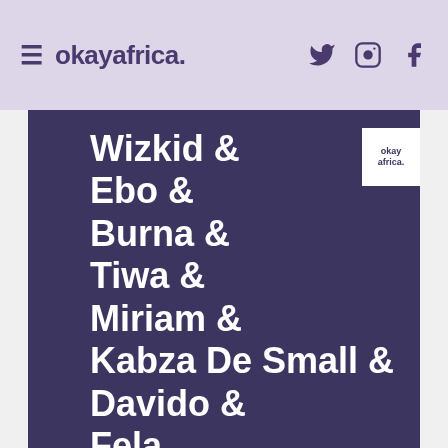≡ okayafrica. [twitter] [instagram] [facebook]
Wizkid & Ebo & Burna & Tiwa & Miriam & Kabza De Small & Davido & Fela.
GET UPDATES ON THE LATEST MUSIC, NEWS, EVENTS & MORE IN YOUR INBOX
ENTER EMAIL HERE
GET THE UPDATES
DECLINE ACCESS
2013 and 2017 elections.
On Monday, a report from UK-based news outlet, Channel